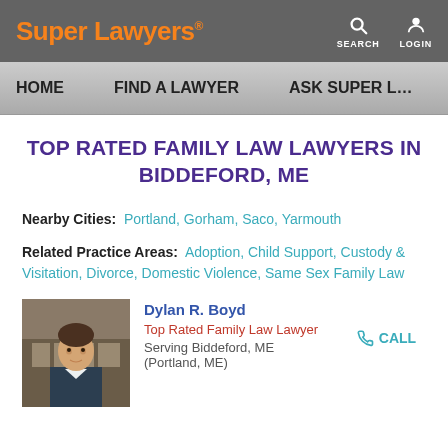Super Lawyers® — SEARCH LOGIN
HOME   FIND A LAWYER   ASK SUPER L…
TOP RATED FAMILY LAW LAWYERS IN BIDDEFORD, ME
Nearby Cities:  Portland, Gorham, Saco, Yarmouth
Related Practice Areas:  Adoption, Child Support, Custody & Visitation, Divorce, Domestic Violence, Same Sex Family Law
Dylan R. Boyd
Top Rated Family Law Lawyer
Serving Biddeford, ME (Portland, ME)
[Figure (photo): Headshot photo of Dylan R. Boyd, a man in a suit with a tie, standing in front of a building.]